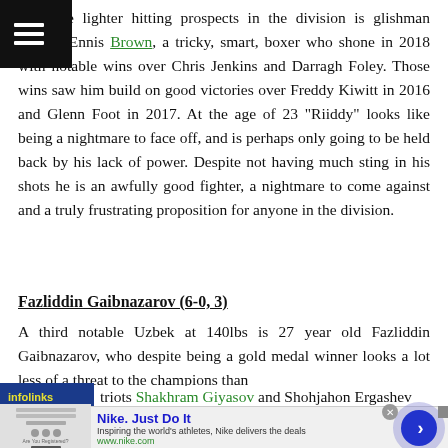e of the lighter hitting prospects in the division is glishman Akeem Ennis Brown, a tricky, smart, boxer who shone in 2018 with notable wins over Chris Jenkins and Darragh Foley. Those wins saw him build on good victories over Freddy Kiwitt in 2016 and Glenn Foot in 2017. At the age of 23 "Riiddy" looks like being a nightmare to face off, and is perhaps only going to be held back by his lack of power. Despite not having much sting in his shots he is an awfully good fighter, a nightmare to come against and a truly frustrating proposition for anyone in the division.
Fazliddin Gaibnazarov (6-0, 3)
A third notable Uzbek at 140lbs is 27 year old Fazliddin Gaibnazarov, who despite being a gold medal winner looks a lot less of a threat to the champions than patriots Shakhram Giyasov and Shohjahon Ergashev
[Figure (other): Infolinks advertisement bar and Nike ad overlay at bottom of page]